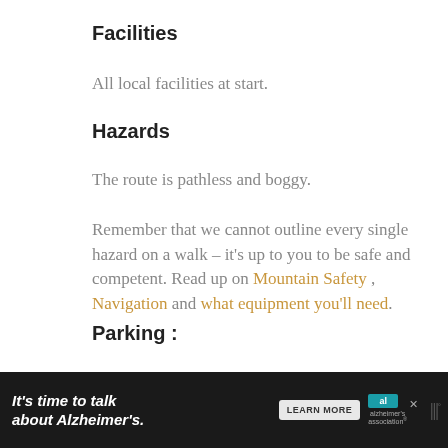Facilities
All local facilities at start.
Hazards
The route is pathless and boggy.
Remember that we cannot outline every single hazard on a walk – it's up to you to be safe and competent. Read up on Mountain Safety , Navigation and what equipment you'll need.
Parking :
Limited roadside parking in Bethesda.
[Figure (infographic): Advertisement banner: dark background with text 'It's time to talk about Alzheimer's.' with a Learn More button and Alzheimer's Association logo.]